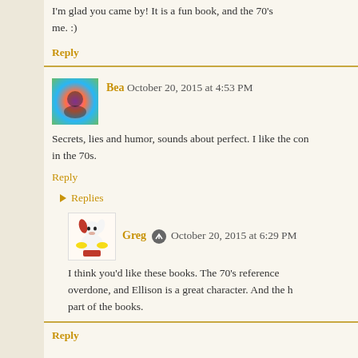I'm glad you came by! It is a fun book, and the 70's... me. :)
Reply
Bea October 20, 2015 at 4:53 PM
Secrets, lies and humor, sounds about perfect. I like the con... in the 70s.
Reply
Replies
Greg October 20, 2015 at 6:29 PM
I think you'd like these books. The 70's reference... overdone, and Ellison is a great character. And the h... part of the books.
Reply